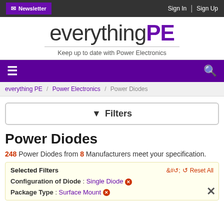Newsletter | Sign In | Sign Up
[Figure (logo): everythingPE logo with tagline: Keep up to date with Power Electronics]
Navigation bar with hamburger menu and search icon
everything PE / Power Electronics / Power Diodes
Filters
Power Diodes
248 Power Diodes from 8 Manufacturers meet your specification.
Selected Filters | Reset All | Configuration of Diode : Single Diode | Package Type : Surface Mount